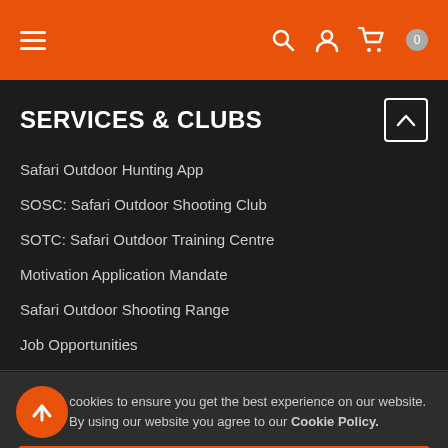Navigation header with hamburger menu, search, user, and cart icons
SERVICES & CLUBS
Safari Outdoor Hunting App
SOSC: Safari Outdoor Shooting Club
SOTC: Safari Outdoor Training Centre
Motivation Application Mandate
Safari Outdoor Shooting Range
Job Opportunities
We use cookies to ensure you get the best experience on our website. By using our website you agree to our Cookie Policy.
Got it!
Cookie Policy